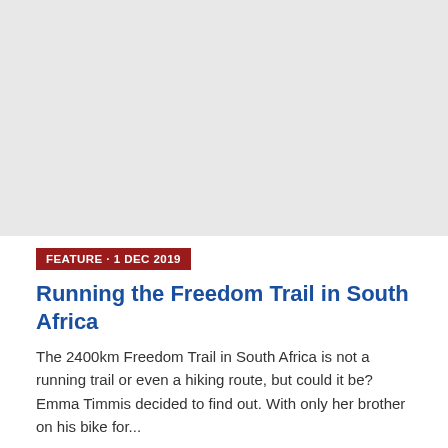[Figure (photo): Large placeholder image area, light gray background, representing a photo for the article about Running the Freedom Trail in South Africa]
FEATURE · 1 DEC 2019
Running the Freedom Trail in South Africa
The 2400km Freedom Trail in South Africa is not a running trail or even a hiking route, but could it be? Emma Timmis decided to find out. With only her brother on his bike for...